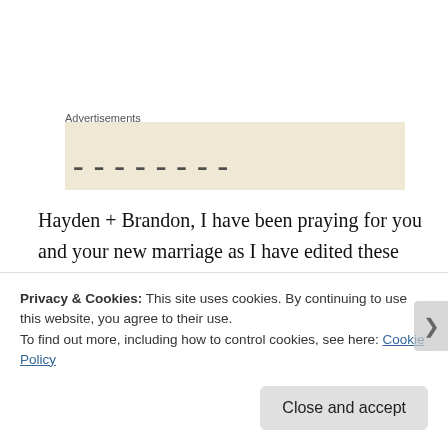Advertisements
[Figure (other): Advertisement banner placeholder with partial decorative text visible at bottom]
Hayden + Brandon, I have been praying for you and your new marriage as I have edited these images. I truly sense the Lord’s joy and excitement as you have made this step in obedience to His plan for your lives. I pray that you will always seek Him for clear direction in each decision you face. I pray His protection over you both, physically and
Privacy & Cookies: This site uses cookies. By continuing to use this website, you agree to their use.
To find out more, including how to control cookies, see here: Cookie Policy
Close and accept